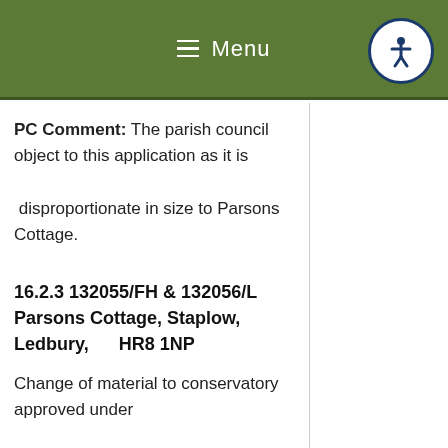Menu
PC Comment: The parish council object to this application as it is

disproportionate in size to Parsons Cottage.
16.2.3 132055/FH & 132056/L Parsons Cottage, Staplow, Ledbury,      HR8 1NP
Change of material to conservatory approved under